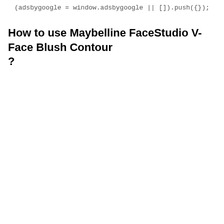(adsbygoogle = window.adsbygoogle || []).push({});
How to use Maybelline FaceStudio V-Face Blush Contour ?